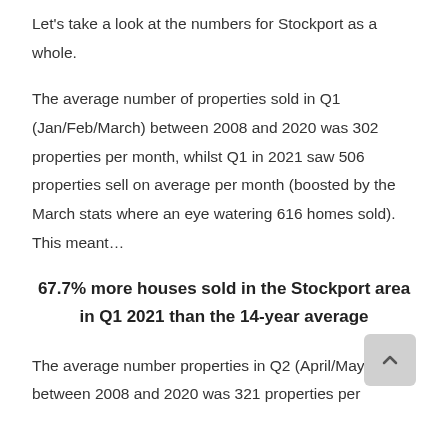Let's take a look at the numbers for Stockport as a whole.
The average number of properties sold in Q1 (Jan/Feb/March) between 2008 and 2020 was 302 properties per month, whilst Q1 in 2021 saw 506 properties sell on average per month (boosted by the March stats where an eye watering 616 homes sold). This meant...
67.7% more houses sold in the Stockport area in Q1 2021 than the 14-year average
The average number properties in Q2 (April/May/June) between 2008 and 2020 was 321 properties per